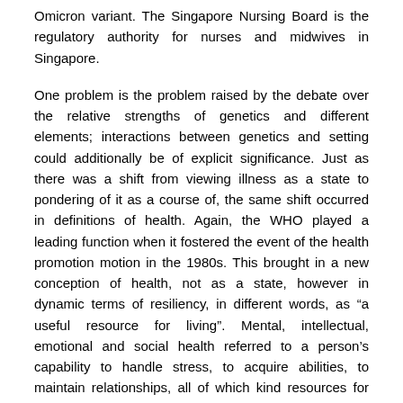Omicron variant. The Singapore Nursing Board is the regulatory authority for nurses and midwives in Singapore.
One problem is the problem raised by the debate over the relative strengths of genetics and different elements; interactions between genetics and setting could additionally be of explicit significance. Just as there was a shift from viewing illness as a state to pondering of it as a course of, the same shift occurred in definitions of health. Again, the WHO played a leading function when it fostered the event of the health promotion motion in the 1980s. This brought in a new conception of health, not as a state, however in dynamic terms of resiliency, in different words, as “a useful resource for living”. Mental, intellectual, emotional and social health referred to a person’s capability to handle stress, to acquire abilities, to maintain relationships, all of which kind resources for resiliency and unbiased living. This opens up many potentialities for health to be taught, strengthened and discovered.
Maintaining bodily fitness, for example, can defend and develop the endurance of a person’s breathing and heart